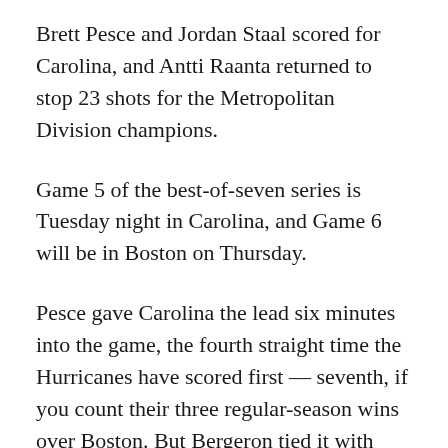Brett Pesce and Jordan Staal scored for Carolina, and Antti Raanta returned to stop 23 shots for the Metropolitan Division champions.
Game 5 of the best-of-seven series is Tuesday night in Carolina, and Game 6 will be in Boston on Thursday.
Pesce gave Carolina the lead six minutes into the game, the fourth straight time the Hurricanes have scored first — seventh, if you count their three regular-season wins over Boston. But Bergeron tied it with four minutes to play in the first period when he slid a loose puck through Raanta's legs.
Just 33 seconds into the second period, Nino Niederreiter backhanded it out to Staal for the one-timer that gave Carolina a 2-1 lead.